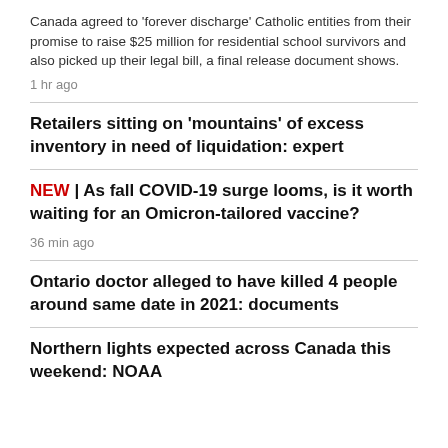Canada agreed to 'forever discharge' Catholic entities from their promise to raise $25 million for residential school survivors and also picked up their legal bill, a final release document shows.
1 hr ago
Retailers sitting on 'mountains' of excess inventory in need of liquidation: expert
NEW | As fall COVID-19 surge looms, is it worth waiting for an Omicron-tailored vaccine?
36 min ago
Ontario doctor alleged to have killed 4 people around same date in 2021: documents
Northern lights expected across Canada this weekend: NOAA